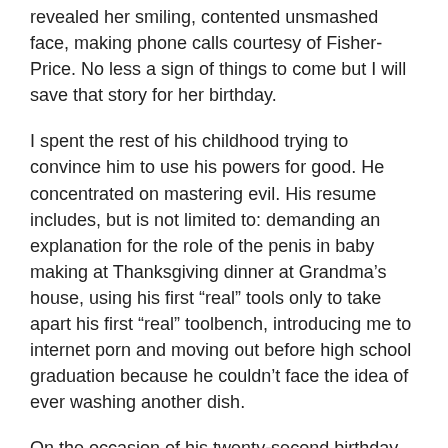revealed her smiling, contented unsmashed face, making phone calls courtesy of Fisher-Price. No less a sign of things to come but I will save that story for her birthday.
I spent the rest of his childhood trying to convince him to use his powers for good. He concentrated on mastering evil. His resume includes, but is not limited to: demanding an explanation for the role of the penis in baby making at Thanksgiving dinner at Grandma's house, using his first “real” tools only to take apart his first “real” toolbench, introducing me to internet porn and moving out before high school graduation because he couldn’t face the idea of ever washing another dish.
On the occasion of his twenty-second birthday, he is not only still alive and in one piece, but an actual contributing member of society. A parachute rigger in the United States Army, he frequently jumps out of airplanes, which is right up his alley. He has been twice decorated with the Army Achievement Medal and managed to convince a lovely, thoughtful, kind young woman to marry him. These days my only worries about that boy revolve around her. She is